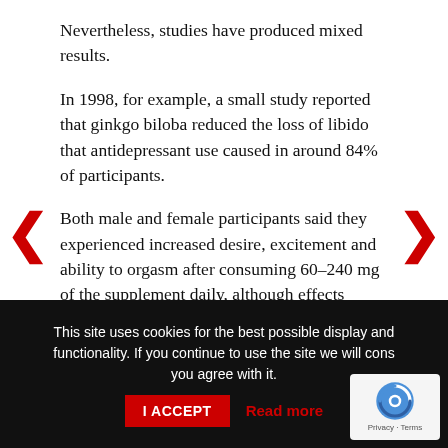Nevertheless, studies have produced mixed results.
In 1998, for example, a small study reported that ginkgo biloba reduced the loss of libido that antidepressant use caused in around 84% of participants.
Both male and female participants said they experienced increased desire, excitement and ability to orgasm after consuming 60–240 mg of the supplement daily, although effects seemed stronger in female participants. However, this was a low-
This site uses cookies for the best possible display and functionality. If you continue to use the site we will cons you agree with it.